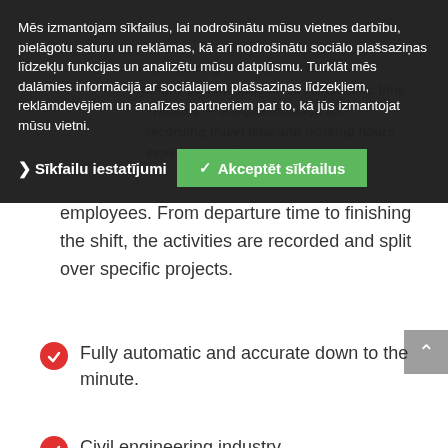Mēs izmantojam sīkfailus, lai nodrošinātu mūsu vietnes darbību, pielāgotu saturu un reklāmas, kā arī nodrošinātu sociālo plašsaziņas līdzekļu funkcijas un analizētu mūsu datplūsmu. Turklāt mēs dalāmies informācijā ar sociālajiem plašsaziņas līdzekļiem, reklāmdevējiem un analīzes partneriem par to, kā jūs izmantojat mūsu vietni.
Sīkfailu iestatījumi
✓ Akceptēt sīkfailus
employees. From departure time to finishing the shift, the activities are recorded and split over specific projects.
Fully automatic and accurate down to the minute.
Civil engineering industry
Digitized travel time and work hours